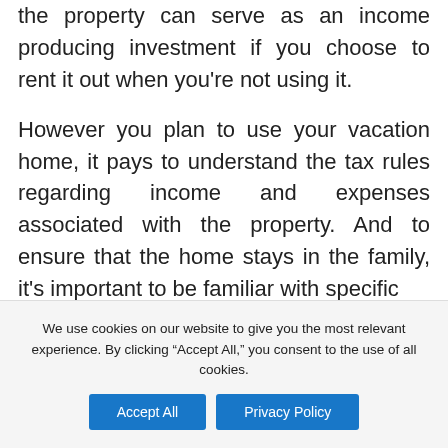the property can serve as an income producing investment if you choose to rent it out when you're not using it.
However you plan to use your vacation home, it pays to understand the tax rules regarding income and expenses associated with the property. And to ensure that the home stays in the family, it's important to be familiar with specific
We use cookies on our website to give you the most relevant experience. By clicking "Accept All," you consent to the use of all cookies.